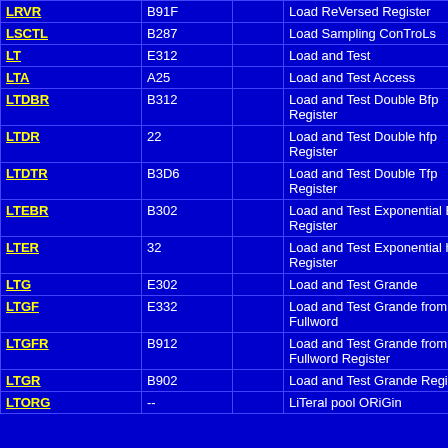| Mnemonic | Opcode |  | Description |
| --- | --- | --- | --- |
| LRVR | B91F |  | Load ReVersed Register |
| LSCTL | B287 |  | Load Sampling ConTroLs |
| LT | E312 |  | Load and Test |
| LTA | A25 |  | Load and Test Access |
| LTDBR | B312 |  | Load and Test Double Bfp Register |
| LTDR | 22 |  | Load and Test Double hfp Register |
| LTDTR | B3D6 |  | Load and Test Double Tfp Register |
| LTEBR | B302 |  | Load and Test Exponential Bfp Register |
| LTER | 32 |  | Load and Test Exponential hfp Register |
| LTG | E302 |  | Load and Test Grande |
| LTGF | E332 |  | Load and Test Grande from Fullword |
| LTGFR | B912 |  | Load and Test Grande from Fullword Register |
| LTGR | B902 |  | Load and Test Grande Register |
| LTORG | -- |  | LiTeral pool ORiGin |